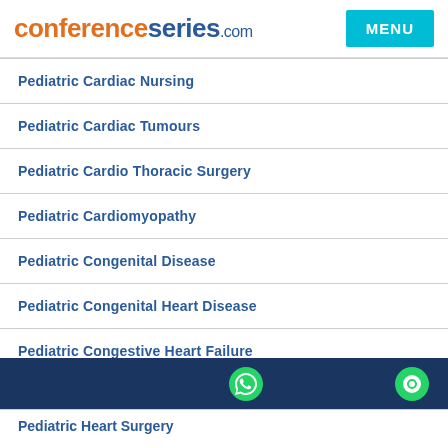conferenceseries.com MENU
Pediatric Cardiac Nursing
Pediatric Cardiac Tumours
Pediatric Cardio Thoracic Surgery
Pediatric Cardiomyopathy
Pediatric Congenital Disease
Pediatric Congenital Heart Disease
Pediatric Congestive Heart Failure
Pediatric Cyanosis
Footer bar with WhatsApp and chat icons
Pediatric Heart Surgery